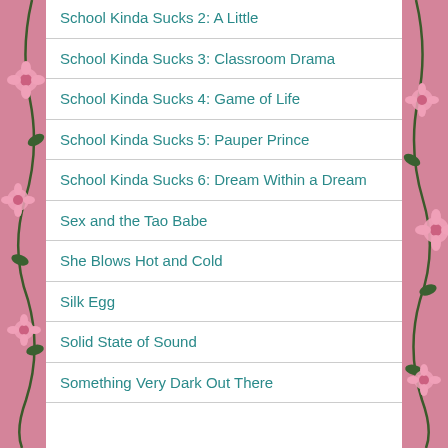School Kinda Sucks 2: A Little
School Kinda Sucks 3: Classroom Drama
School Kinda Sucks 4: Game of Life
School Kinda Sucks 5: Pauper Prince
School Kinda Sucks 6: Dream Within a Dream
Sex and the Tao Babe
She Blows Hot and Cold
Silk Egg
Solid State of Sound
Something Very Dark Out There